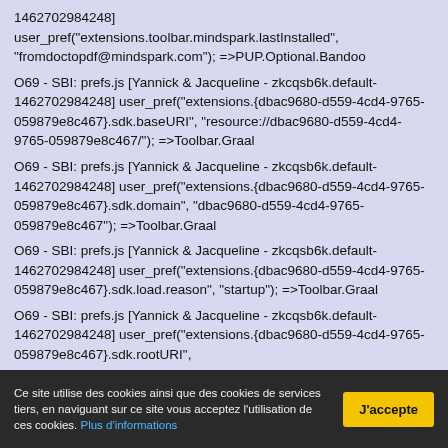1462702984248]
user_pref("extensions.toolbar.mindspark.lastInstalled", "fromdoctopdf@mindspark.com"); =>PUP.Optional.Bandoo
O69 - SBI: prefs.js [Yannick & Jacqueline - zkcqsb6k.default-1462702984248] user_pref("extensions.{dbac9680-d559-4cd4-9765-059879e8c467}.sdk.baseURI", "resource://dbac9680-d559-4cd4-9765-059879e8c467/"); =>Toolbar.Graal
O69 - SBI: prefs.js [Yannick & Jacqueline - zkcqsb6k.default-1462702984248] user_pref("extensions.{dbac9680-d559-4cd4-9765-059879e8c467}.sdk.domain", "dbac9680-d559-4cd4-9765-059879e8c467"); =>Toolbar.Graal
O69 - SBI: prefs.js [Yannick & Jacqueline - zkcqsb6k.default-1462702984248] user_pref("extensions.{dbac9680-d559-4cd4-9765-059879e8c467}.sdk.load.reason", "startup"); =>Toolbar.Graal
O69 - SBI: prefs.js [Yannick & Jacqueline - zkcqsb6k.default-1462702984248] user_pref("extensions.{dbac9680-d559-4cd4-9765-059879e8c467}.sdk.rootURI", "jar:file:///C:/Users/Yannick%20&%20Jacqueline/AppData/[...]
Ce site utilise des cookies ainsi que des cookies de services tiers, en naviguant sur ce site vous acceptez l'utilisation de ces cookies. Plus d'informations
J'accepte